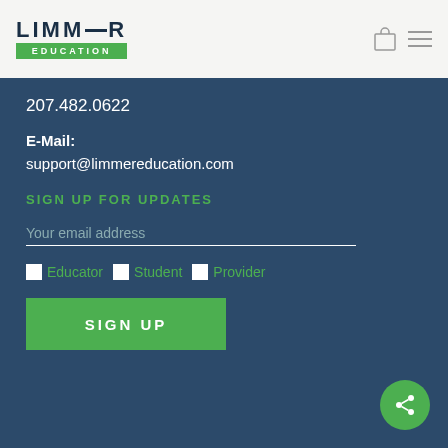LIMMER EDUCATION
207.482.0622
E-Mail:
support@limmereducation.com
SIGN UP FOR UPDATES
Your email address
Educator  Student  Provider
SIGN UP